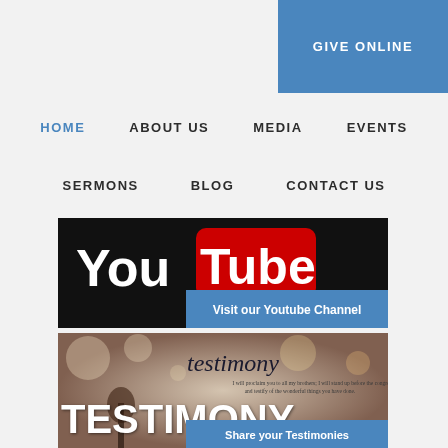GIVE ONLINE
HOME  ABOUT US  MEDIA  EVENTS
SERMONS  BLOG  CONTACT US
[Figure (screenshot): YouTube logo banner with white 'You' text and red 'Tube' text on black background, with a blue overlay button reading 'Visit our Youtube Channel']
[Figure (photo): Blurred stage/microphone background with 'testimony' text in dark serif italic, small quote text below it, large white bold 'TESTIMONY' text, and a blue overlay button reading 'Share your Testimonies']